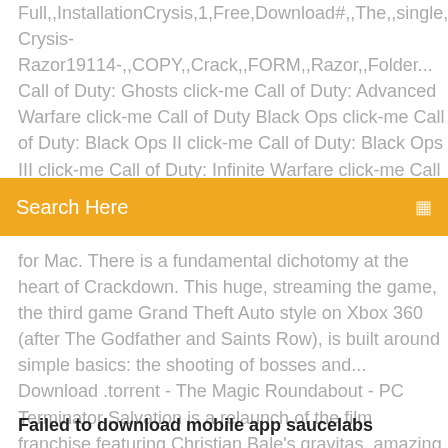Full,,InstallationCrysis,1,Free,Download#,,The,,single,,player,,demo,,w Crysis-Razor19114-,,COPY,,Crack,,FORM,,Razor,,Folder... Call of Duty: Ghosts click-me Call of Duty: Advanced Warfare click-me Call of Duty Black Ops click-me Call of Duty: Black Ops II click-me Call of Duty: Black Ops III click-me Call of Duty: Infinite Warfare click-me Call of Duty: Modern... The Sims 3 Complete
[Figure (screenshot): Orange search bar with text 'Search Here' and a search icon on the right]
for Mac. There is a fundamental dichotomy at the heart of Crackdown. This huge, streaming the game, the third game Grand Theft Auto style on Xbox 360 (after The Godfather and Saints Row), is built around simple basics: the shooting of bosses and... Download .torrent - The Magic Roundabout - PC Terminator Salvation is a relaunch of the film franchise featuring Christian Bale's gravitas, amazing set pieces and slick camera work.
Failed to download mobile app saucelabs